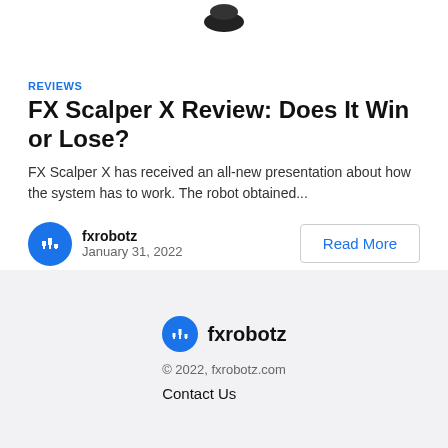[Figure (logo): Partially visible blurred logo/icon at top center of page]
REVIEWS
FX Scalper X Review: Does It Win or Lose?
FX Scalper X has received an all-new presentation about how the system has to work. The robot obtained...
fxrobotz
January 31, 2022
Read More
[Figure (logo): fxrobotz circular blue logo icon with candlestick chart symbol]
fxrobotz
© 2022, fxrobotz.com
Contact Us